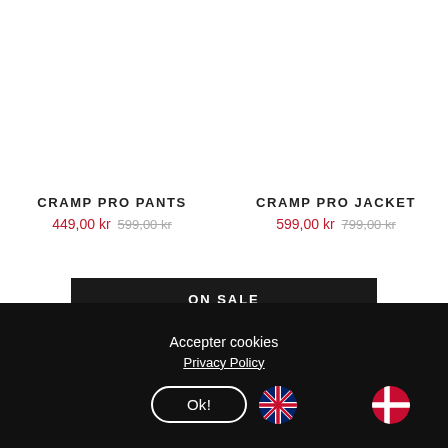CRAMP PRO PANTS
449,00 kr  599,00 kr
CRAMP PRO JACKET
599,00 kr  799,00 kr
ON SALE
Accepter cookies
Privacy Policy
Ok!